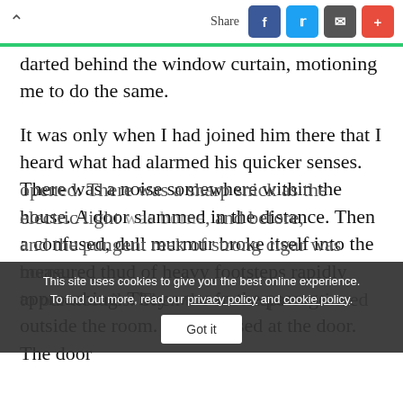^ Share
darted behind the window curtain, motioning me to do the same.
It was only when I had joined him there that I heard what had alarmed his quicker senses. There was a noise somewhere within the house. A door slammed in the distance. Then a confused, dull murmur broke itself into the measured thud of heavy footsteps rapidly approaching. They were in the passage outside the room. They paused at the door. The door opened. There was a sharp snick as the electric light flashed up. I could see that he was pale and excited, and before, and the pungent reek of a strong cigar was borne to our nostrils. Then the footsteps continued
This site uses cookies to give you the best online experience. To find out more, read our privacy policy and cookie policy. Got it